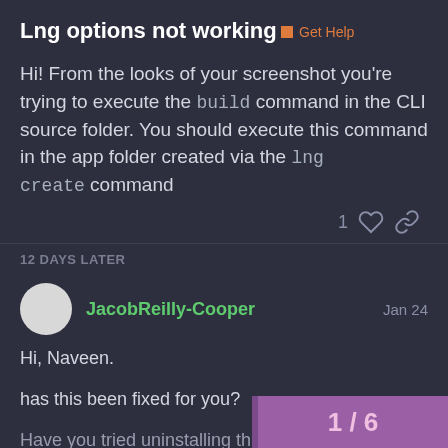Lng options not working
Get Help
Hi! From the looks of your screenshot you're trying to execute the build command in the CLI source folder. You should execute this command in the app folder created via the lng create command
12 DAYS LATER
JacobReilly-Cooper  Jan 24
Hi, Naveen.
has this been fixed for you?
Have you tried uninstalling the Lightning
1/6